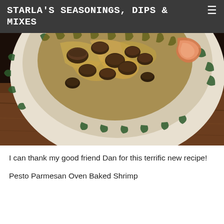STARLA'S SEASONINGS, DIPS & MIXES
[Figure (photo): Close-up photo of a decorative plate with a green and white patterned rim, containing sautéed mushrooms, onions, and shrimp, placed on a wooden surface.]
I can thank my good friend Dan for this terrific new recipe!
Pesto Parmesan Oven Baked Shrimp